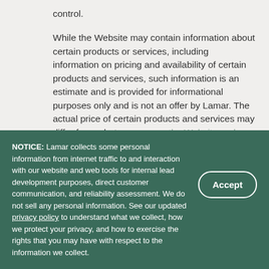control.
While the Website may contain information about certain products or services, including information on pricing and availability of certain products and services, such information is an estimate and is provided for informational purposes only and is not an offer by Lamar. The actual price of certain products and services may differ from what appears on the Website and certain products and services may not be available in all areas.
NOTICE: Lamar collects some personal information from internet traffic to and interaction with our website and web tools for internal lead development purposes, direct customer communication, and reliability assessment. We do not sell any personal information. See our updated privacy policy to understand what we collect, how we protect your privacy, and how to exercise the rights that you may have with respect to the information we collect.